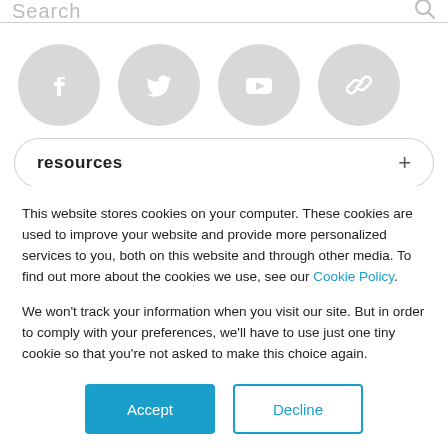Search
[Figure (illustration): Four social media icon circles: Facebook, Twitter, YouTube, and a link/chain icon, all in light grey]
resources +
This website stores cookies on your computer. These cookies are used to improve your website and provide more personalized services to you, both on this website and through other media. To find out more about the cookies we use, see our Cookie Policy.
We won't track your information when you visit our site. But in order to comply with your preferences, we'll have to use just one tiny cookie so that you're not asked to make this choice again.
Accept   Decline